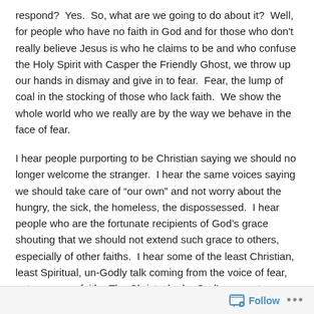respond?  Yes.  So, what are we going to do about it?  Well, for people who have no faith in God and for those who don't really believe Jesus is who he claims to be and who confuse the Holy Spirit with Casper the Friendly Ghost, we throw up our hands in dismay and give in to fear.  Fear, the lump of coal in the stocking of those who lack faith.  We show the whole world who we really are by the way we behave in the face of fear.
I hear people purporting to be Christian saying we should no longer welcome the stranger.  I hear the same voices saying we should take care of “our own” and not worry about the hungry, the sick, the homeless, the dispossessed.  I hear people who are the fortunate recipients of God’s grace shouting that we should not extend such grace to others, especially of other faiths.  I hear some of the least Christian, least Spiritual, un-Godly talk coming from the voice of fear, not reason or faith.  The Christ who by God’s power tears down all the dividing walls of hostility is being rejected by many in the Christian church.  What’s up with that?
Follow ···